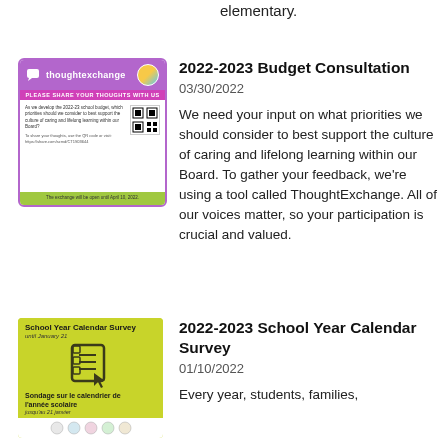elementary.
[Figure (illustration): ThoughtExchange promotional card with purple header, survey question, QR code, and green info bar]
2022-2023 Budget Consultation
03/30/2022
We need your input on what priorities we should consider to best support the culture of caring and lifelong learning within our Board. To gather your feedback, we're using a tool called ThoughtExchange. All of our voices matter, so your participation is crucial and valued.
[Figure (illustration): School Year Calendar Survey card with green background, clipboard icon, French subtitle, and school board logos]
2022-2023 School Year Calendar Survey
01/10/2022
Every year, students, families,